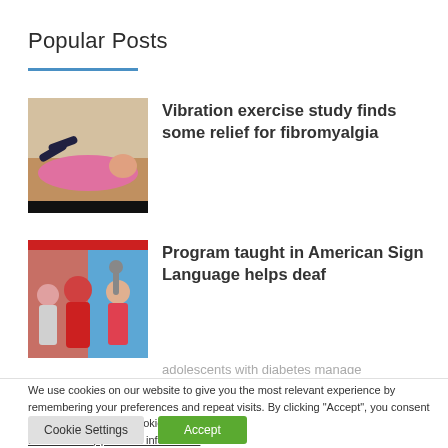Popular Posts
[Figure (photo): Person lying on exercise/yoga mat doing back exercise, indoor setting]
Vibration exercise study finds some relief for fibromyalgia
[Figure (photo): Group of people including a person in red shirt, colorful background with activity/fitness theme]
Program taught in American Sign Language helps deaf
We use cookies on our website to give you the most relevant experience by remembering your preferences and repeat visits. By clicking "Accept", you consent to the use of ALL the cookies.
Do not sell my personal information.